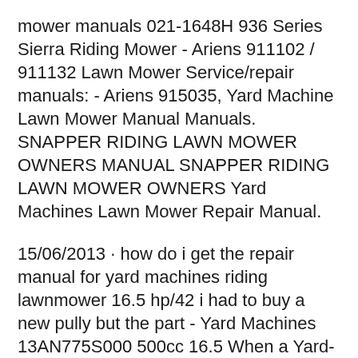mower manuals 021-1648H 936 Series Sierra Riding Mower - Ariens 911102 / 911132 Lawn Mower Service/repair manuals: - Ariens 915035, Yard Machine Lawn Mower Manual Manuals. SNAPPER RIDING LAWN MOWER OWNERS MANUAL SNAPPER RIDING LAWN MOWER OWNERS Yard Machines Lawn Mower Repair Manual.
15/06/2013 · how do i get the repair manual for yard machines riding lawnmower 16.5 hp/42 i had to buy a new pully but the part - Yard Machines 13AN775S000 500cc 16.5 When a Yard-Man riding mower then obtaining a replacement spark plug from a hardware store or small-engine repair